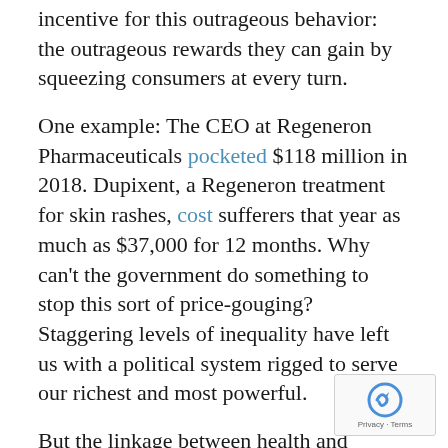incentive for this outrageous behavior: the outrageous rewards they can gain by squeezing consumers at every turn.
One example: The CEO at Regeneron Pharmaceuticals pocketed $118 million in 2018. Dupixent, a Regeneron treatment for skin rashes, cost sufferers that year as much as $37,000 for 12 months. Why can't the government do something to stop this sort of price-gouging? Staggering levels of inequality have left us with a political system rigged to serve our richest and most powerful.
But the linkage between health and inequality goes even deeper than price-gouging and plutocracy. In fact, epidemiologists — the scientists who study the health of populations — have come to see inequality as a social reality that